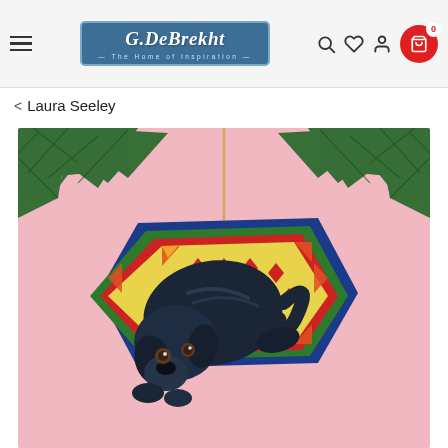G.DeBrekht - The Home of Inspiration
< Laura Seeley
[Figure (photo): Product photo of a black Labrador dog ornament lying on a colorful quilt design, hung from a Christmas tree branch against a pink background. The ornament is a shaped flat piece featuring an illustrated black lab dog on a yellow quilt with red diamond patterns and colorful geometric borders. A gold cord hangs from the top of the ornament. Christmas tree branches with green needles frame the top of the image.]